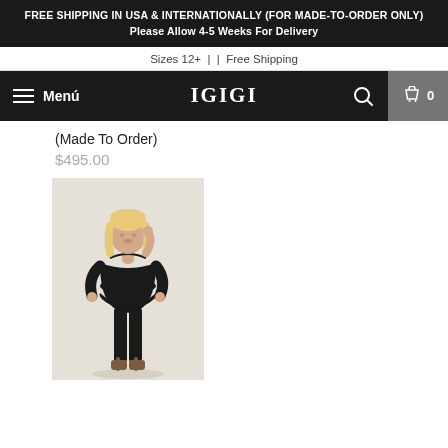FREE SHIPPING IN USA & INTERNATIONALLY (FOR MADE-TO-ORDER ONLY) Please Allow 4-5 Weeks For Delivery
Sizes 12+  |  |  Free Shipping
Menú  IGIGI  0
(Made To Order)
$495.00
[Figure (photo): Woman wearing a black v-neck top with 3/4 sleeves and black leggings, posing against a neutral background. She has blonde hair and is wearing heeled sandals.]